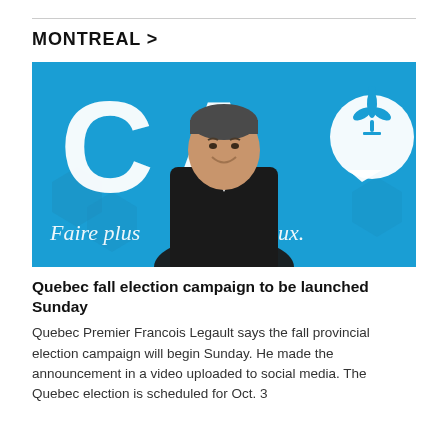MONTREAL >
[Figure (photo): Quebec Premier Francois Legault smiling in front of a blue CAQ party backdrop with large white letters CAQ and fleur-de-lis logo, with text 'Faire plus ...ieux.' visible on the banner.]
Quebec fall election campaign to be launched Sunday
Quebec Premier Francois Legault says the fall provincial election campaign will begin Sunday. He made the announcement in a video uploaded to social media. The Quebec election is scheduled for Oct. 3